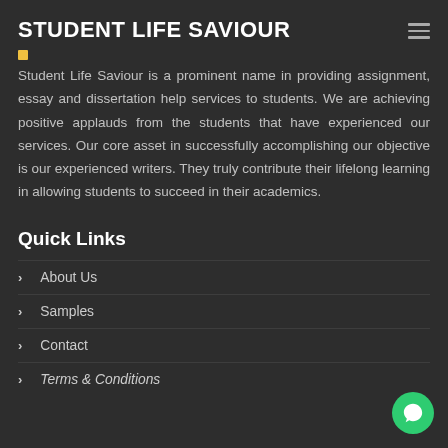STUDENT LIFE SAVIOUR
Student Life Saviour is a prominent name in providing assignment, essay and dissertation help services to students. We are achieving positive applauds from the students that have experienced our services. Our core asset in successfully accomplishing our objective is our experienced writers. They truly contribute their lifelong learning in allowing students to succeed in their academics.
Quick Links
About Us
Samples
Contact
Terms & Conditions